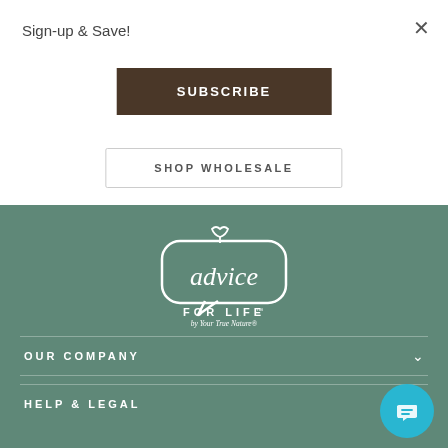×
Sign-up & Save!
SUBSCRIBE
SHOP WHOLESALE
[Figure (logo): Advice For Life by Your True Nature logo in white on sage green background]
OUR COMPANY
HELP & LEGAL